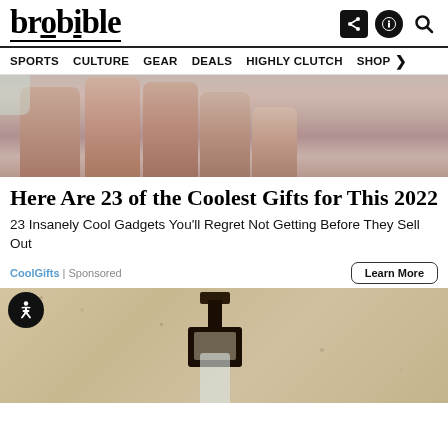brobible
SPORTS | CULTURE | GEAR | DEALS | HIGHLY CLUTCH | SHOP
[Figure (photo): Close-up photo of a hand holding something, fingers visible against a blurred background]
Here Are 23 of the Coolest Gifts for This 2022
23 Insanely Cool Gadgets You'll Regret Not Getting Before They Sell Out
CoolGifts | Sponsored
Learn More
[Figure (photo): Photo of an outdoor wall light fixture mounted on a textured stucco wall, with a glass bottle below it]